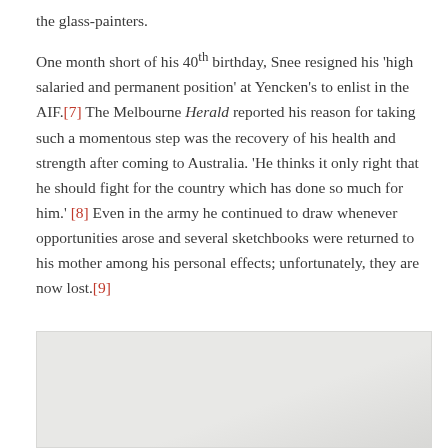the glass-painters.

One month short of his 40th birthday, Snee resigned his 'high salaried and permanent position' at Yencken's to enlist in the AIF.[7] The Melbourne Herald reported his reason for taking such a momentous step was the recovery of his health and strength after coming to Australia. 'He thinks it only right that he should fight for the country which has done so much for him.' [8] Even in the army he continued to draw whenever opportunities arose and several sketchbooks were returned to his mother among his personal effects; unfortunately, they are now lost.[9]
[Figure (photo): Partially visible photograph, appears blank/faded, light grey tones]